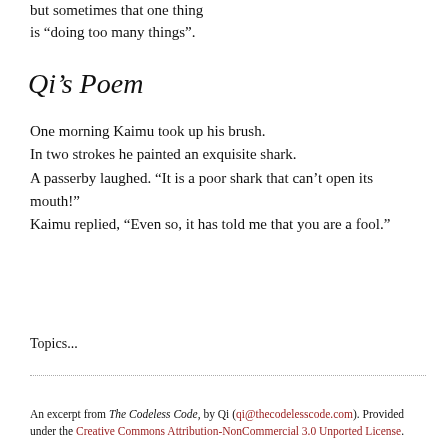but sometimes that one thing is “doing too many things”.
Qi’s Poem
One morning Kaimu took up his brush.
In two strokes he painted an exquisite shark.
A passerby laughed. “It is a poor shark that can’t open its mouth!”
Kaimu replied, “Even so, it has told me that you are a fool.”
Topics...
An excerpt from The Codeless Code, by Qi (qi@thecodelesscode.com). Provided under the Creative Commons Attribution-NonCommercial 3.0 Unported License.